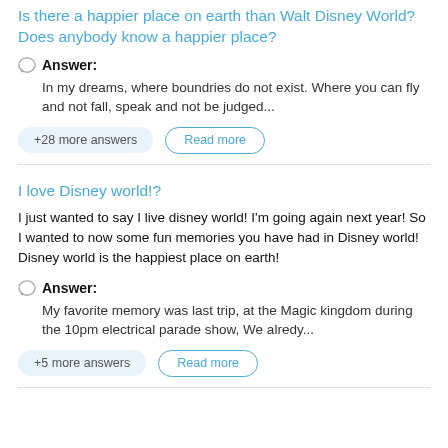Is there a happier place on earth than Walt Disney World? Does anybody know a happier place?
Answer:
In my dreams, where boundries do not exist. Where you can fly and not fall, speak and not be judged...
+28 more answers
Read more
I love Disney world!?
I just wanted to say I live disney world! I'm going again next year! So I wanted to now some fun memories you have had in Disney world! Disney world is the happiest place on earth!
Answer:
My favorite memory was last trip, at the Magic kingdom during the 10pm electrical parade show, We alredy...
+5 more answers
Read more